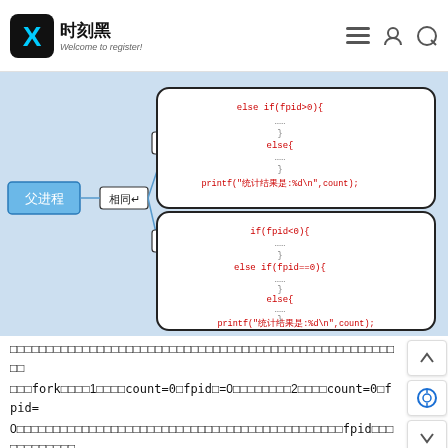时刻黑 Welcome to register! [navigation icons]
[Figure (flowchart): A mind-map/flowchart diagram on a light blue background showing 父进程 (parent process) branching into 父进程 box and 子进程 (child process) box, each connected via 相同 (same) node. Each box contains red code text: else if(fpid>0), else{...}, printf(统计结果是:%d\n,count); and if(fpid<0), else if(fpid==0){...}, else{...}, printf(统计结果是:%d\n,count);]
初始化fork之前第1次循环count=0fpid＝0第2次循环count=0fpid=0（省略）父进程fpid（...）
程序中需要引用#include头文件才能使用fork函数，因此在fork调用之前需要添加int count=0;fork之后执行的是相同的代码